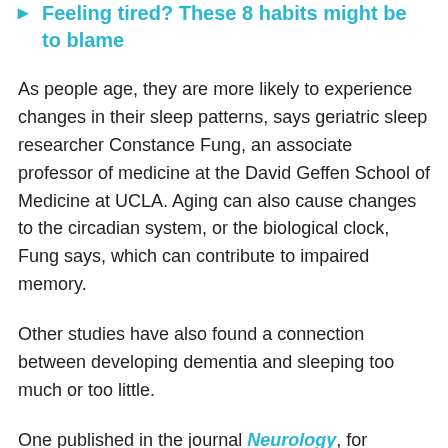Feeling tired? These 8 habits might be to blame
As people age, they are more likely to experience changes in their sleep patterns, says geriatric sleep researcher Constance Fung, an associate professor of medicine at the David Geffen School of Medicine at UCLA. Aging can also cause changes to the circadian system, or the biological clock, Fung says, which can contribute to impaired memory.
Other studies have also found a connection between developing dementia and sleeping too much or too little.
One published in the journal Neurology, for